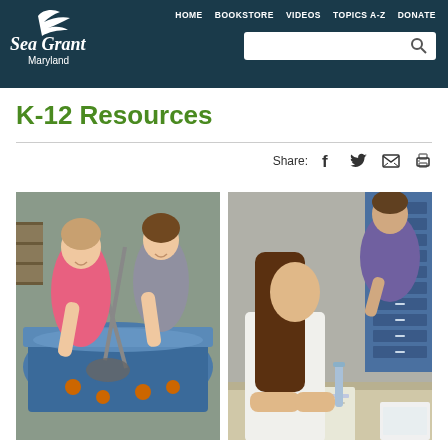Sea Grant Maryland — HOME BOOKSTORE VIDEOS TOPICS A-Z DONATE
K-12 Resources
Share:
[Figure (photo): Two young women smiling and using a net in a large blue tank filled with water and small objects, in a laboratory or aquarium setting]
[Figure (photo): A young woman and a man looking at a book or worksheet on a table in a classroom or lab setting, with blue storage drawers in the background]